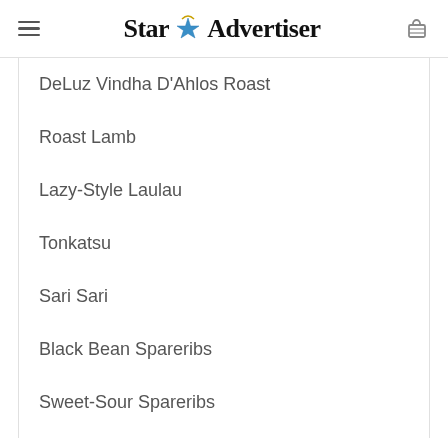Star Advertiser
DeLuz Vindha D'Ahlos Roast
Roast Lamb
Lazy-Style Laulau
Tonkatsu
Sari Sari
Black Bean Spareribs
Sweet-Sour Spareribs
Pork Hash